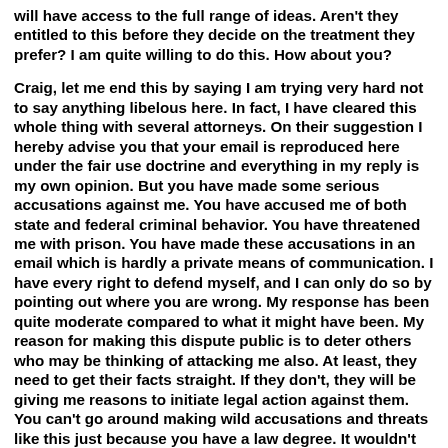will have access to the full range of ideas. Aren't they entitled to this before they decide on the treatment they prefer? I am quite willing to do this. How about you?
Craig, let me end this by saying I am trying very hard not to say anything libelous here. In fact, I have cleared this whole thing with several attorneys. On their suggestion I hereby advise you that your email is reproduced here under the fair use doctrine and everything in my reply is my own opinion. But you have made some serious accusations against me. You have accused me of both state and federal criminal behavior. You have threatened me with prison. You have made these accusations in an email which is hardly a private means of communication. I have every right to defend myself, and I can only do so by pointing out where you are wrong. My response has been quite moderate compared to what it might have been. My reason for making this dispute public is to deter others who may be thinking of attacking me also. At least, they need to get their facts straight. If they don't, they will be giving me reasons to initiate legal action against them. You can't go around making wild accusations and threats like this just because you have a law degree. It wouldn't surprise me if you get a few emails from people who read this and